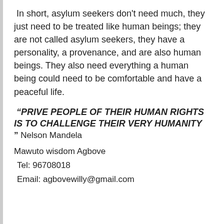In short, asylum seekers don't need much, they just need to be treated like human beings; they are not called asylum seekers, they have a personality, a provenance, and are also human beings. They also need everything a human being could need to be comfortable and have a peaceful life.
“PRIVE PEOPLE OF THEIR HUMAN RIGHTS IS TO CHALLENGE THEIR VERY HUMANITY” Nelson Mandela
Mawuto wisdom Agbove
Tel: 96708018
Email: agbovewilly@gmail.com